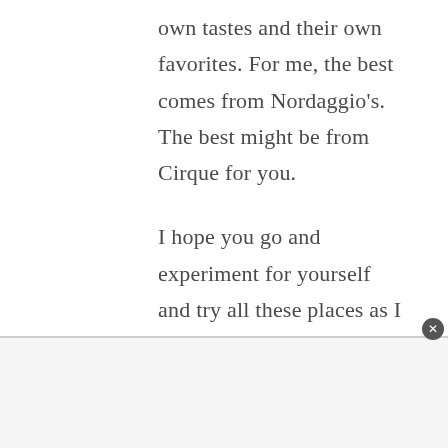own tastes and their own favorites. For me, the best comes from Nordaggio's. The best might be from Cirque for you.
I hope you go and experiment for yourself and try all these places as I did. I learned so many things about coffee and what I liked about each drink.